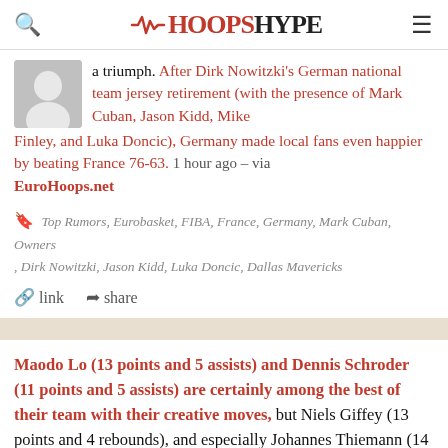HoopsHype
a triumph. After Dirk Nowitzki's German national team jersey retirement (with the presence of Mark Cuban, Jason Kidd, Mike Finley, and Luka Doncic), Germany made local fans even happier by beating France 76-63. 1 hour ago – via EuroHoops.net
Top Rumors, Eurobasket, FIBA, France, Germany, Mark Cuban, Owners, Dirk Nowitzki, Jason Kidd, Luka Doncic, Dallas Mavericks
link  share
Maodo Lo (13 points and 5 assists) and Dennis Schroder (11 points and 5 assists) are certainly among the best of their team with their creative moves, but Niels Giffey (13 points and 4 rebounds), and especially Johannes Thiemann (14 points and 6 rebounds) as well deserve the distinction. Rudy Gobert closed the night with a double-double of 11 points and 12 rebounds for France, while...